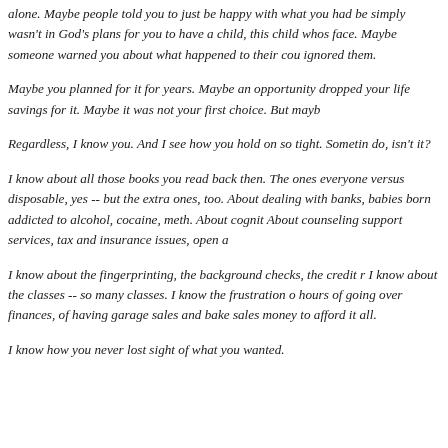alone. Maybe people told you to just be happy with what you had be simply wasn't in God's plans for you to have a child, this child whos face. Maybe someone warned you about what happened to their cou ignored them.
Maybe you planned for it for years. Maybe an opportunity dropped your life savings for it. Maybe it was not your first choice. But mayb
Regardless, I know you. And I see how you hold on so tight. Sometin do, isn't it?
I know about all those books you read back then. The ones everyone versus disposable, yes -- but the extra ones, too. About dealing with banks, babies born addicted to alcohol, cocaine, meth. About cognit About counseling support services, tax and insurance issues, open a
I know about the fingerprinting, the background checks, the credit r I know about the classes -- so many classes. I know the frustration o hours of going over finances, of having garage sales and bake sales money to afford it all.
I know how you never lost sight of what you wanted.